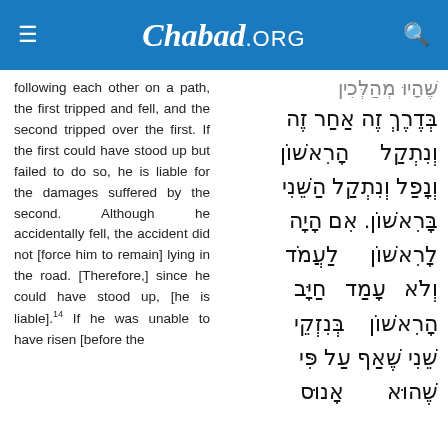Chabad.ORG
following each other on a path, the first tripped and fell, and the second tripped over the first. If the first could have stood up but failed to do so, he is liable for the damages suffered by the second. Although he accidentally fell, the accident did not [force him to remain] lying in the road. [Therefore,] since he could have stood up, [he is liable].14 If he was unable to have risen [before the
Hebrew text: בְּדֶרֶךְ זֶה אַחַר זֶה וְנִתְקַל הָרִאשׁוֹן וְנָפַל וְנִתְקַל הַשֵּׁנִי בָּרִאשׁוֹן. אִם הָיָה לָרִאשׁוֹן לַעֲמֹד וְלֹא עָמַד חַיָּב הָרִאשׁוֹן בְּנִזְקֵי שֵׁנִי שֶׁאַף עַל פִּי שֶׁהוּא אָנוּס